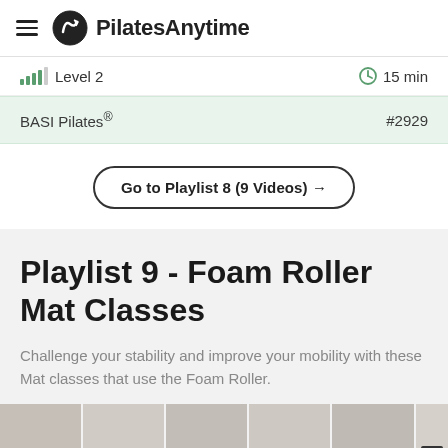PilatesAnytime
Level 2  |  15 min
BASI Pilates®  #2929
Go to Playlist 8 (9 Videos) →
Playlist 9 - Foam Roller Mat Classes
Challenge your stability and improve your mobility with these Mat classes that use the Foam Roller.
[Figure (screenshot): Thumbnail strip of video previews at the bottom of the page with a CC badge in the lower right corner]